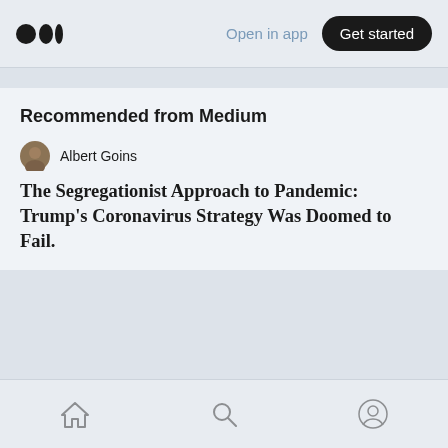Open in app | Get started
Read more from Dialogue & Discourse
Recommended from Medium
Albert Goins
The Segregationist Approach to Pandemic: Trump's Coronavirus Strategy Was Doomed to Fail.
Home | Search | Profile